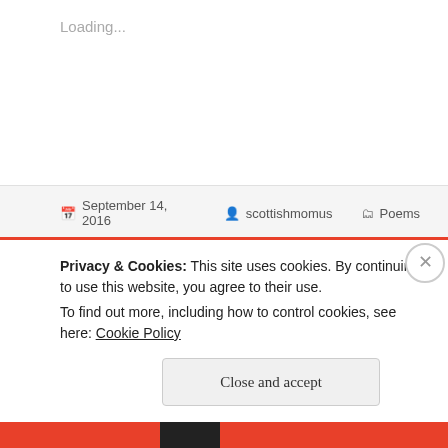Loading...
September 14, 2016  scottishmomus  Poems
Legging It
I'm not pregnant
I'll never be again (just so's you know)
Privacy & Cookies: This site uses cookies. By continuing to use this website, you agree to their use.
To find out more, including how to control cookies, see here: Cookie Policy
Close and accept